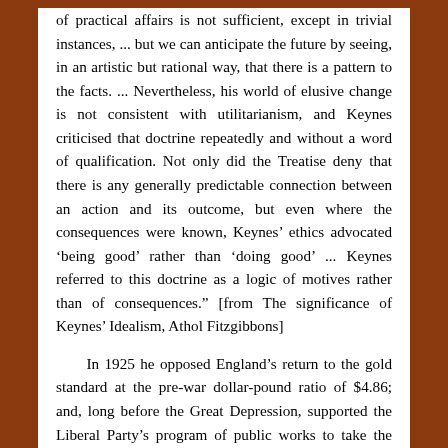of practical affairs is not sufficient, except in trivial instances, ... but we can anticipate the future by seeing, in an artistic but rational way, that there is a pattern to the facts. ... Nevertheless, his world of elusive change is not consistent with utilitarianism, and Keynes criticised that doctrine repeatedly and without a word of qualification. Not only did the Treatise deny that there is any generally predictable connection between an action and its outcome, but even where the consequences were known, Keynes' ethics advocated 'being good' rather than 'doing good' ... Keynes referred to this doctrine as a logic of motives rather than of consequences." [from The significance of Keynes' Idealism, Athol Fitzgibbons]
In 1925 he opposed England's return to the gold standard at the pre-war dollar-pound ratio of $4.86; and, long before the Great Depression, supported the Liberal Party's program of public works to take the unemployed off welfare. But respectable economists still relied upon the expected automatic adjustments of the free market. Since Keynes could not yet offer a theoretical refutation of his colleagues' opinions, his agitation for public